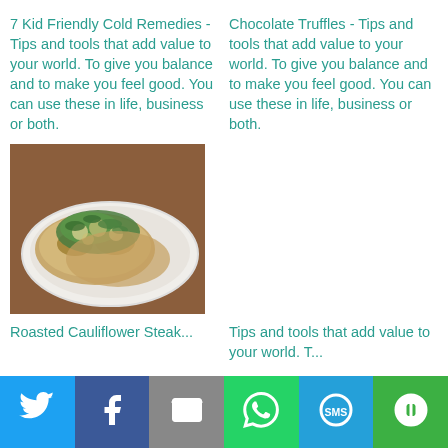7 Kid Friendly Cold Remedies - Tips and tools that add value to your world. To give you balance and to make you feel good. You can use these in life, business or both.
Chocolate Truffles - Tips and tools that add value to your world. To give you balance and to make you feel good. You can use these in life, business or both.
[Figure (photo): Roasted cauliflower steak on a white plate with green herb topping]
Roasted Cauliflower Steak...
Tips and tools that add value to your world. T...
[Figure (infographic): Social media share bar with Twitter, Facebook, Email, WhatsApp, SMS, and More buttons]